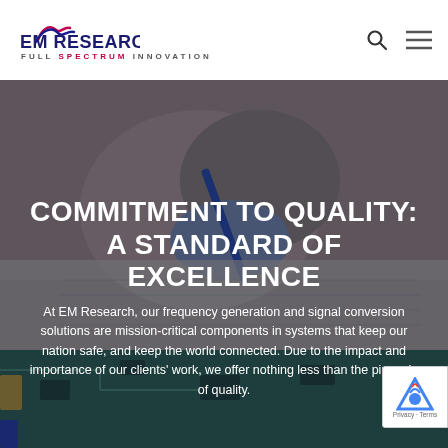[Figure (logo): EM Research logo with wavy graphic, text EM RESEARCH and tagline FULL SPECTRUM INNOVATION]
[Figure (photo): Close-up of hands with gloves working on electronics/circuit boards with writing implements, dark blue tinted overlay]
COMMITMENT TO QUALITY: A STANDARD OF EXCELLENCE
At EM Research, our frequency generation and signal conversion solutions are mission-critical components in systems that keep our nation safe, and keep the world connected. Due to the impact and importance of our clients' work, we offer nothing less than the pinnacle of quality.